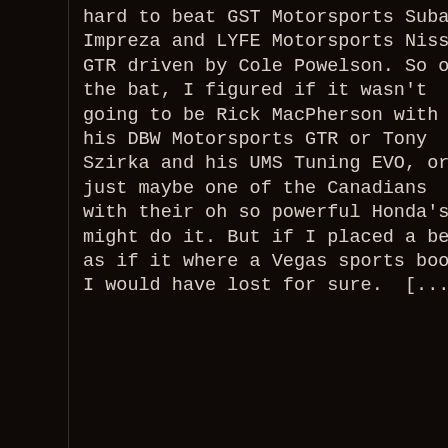hard to beat GST Motorsports Subaru Impreza and LYFE Motorsports Nissan GTR driven by Cole Powelson. So off the bat, I figured if it wasn't going to be Rick MacPherson with his DBW Motorsports GTR or Tony Szirka and his UMS Tuning EVO, or  just maybe one of the Canadians with their oh so powerful Honda's might do it. But if I placed a bet as if it where a Vegas sports book I would have lost for sure.  [...]